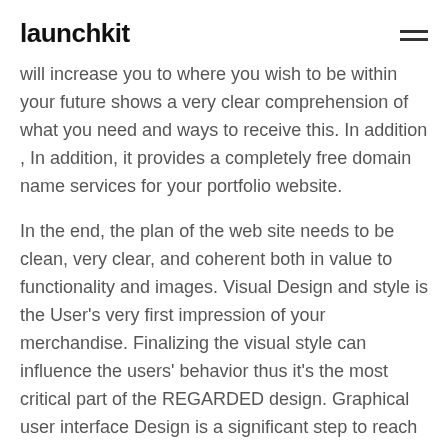launchkit
will increase you to where you wish to be within your future shows a very clear comprehension of what you need and ways to receive this. In addition , In addition, it provides a completely free domain name services for your portfolio website.
In the end, the plan of the web site needs to be clean, very clear, and coherent both in value to functionality and images. Visual Design and style is the User's very first impression of your merchandise. Finalizing the visual style can influence the users' behavior thus it's the most critical part of the REGARDED design. Graphical user interface Design is a significant step to reach the best User Knowledge. It's accurate that you can do exploration. Our study also says nearly all users prefer to adopt podcasts by using an external source, in place of to the business site. Moreover, the AI